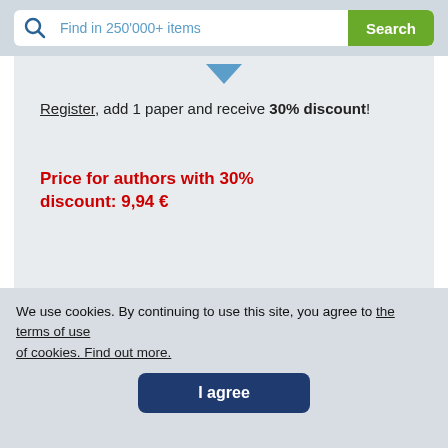[Figure (screenshot): Search bar with magnifying glass icon, placeholder text 'Find in 250’000+ items', and green Search button]
Register, add 1 paper and receive 30% discount!
Price for authors with 30% discount: 9,94 €
[Figure (screenshot): Dark navy blue rounded Register button with person icon and text 'Register']
ID number: 160192
[Figure (screenshot): Twitter Tweet button in light blue]
We use cookies. By continuing to use this site, you agree to the terms of use of cookies. Find out more.
[Figure (screenshot): Dark navy blue 'I agree' button]